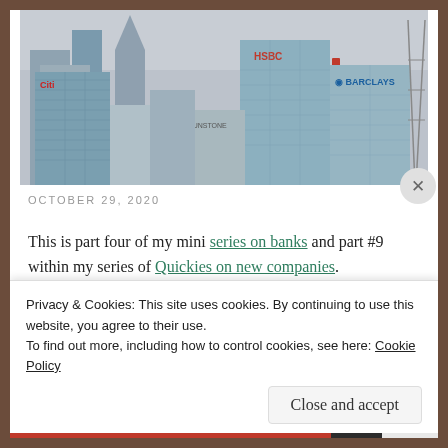[Figure (photo): Aerial/ground-level view of Canary Wharf financial district skyline showing tall glass skyscrapers with Citibank, HSBC, and Barclays signage]
OCTOBER 29, 2020
This is part four of my mini series on banks and part #9 within my series of Quickies on new companies.
Privacy & Cookies: This site uses cookies. By continuing to use this website, you agree to their use.
To find out more, including how to control cookies, see here: Cookie Policy
Close and accept